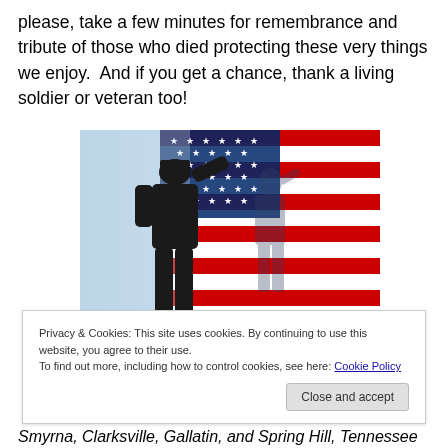please, take a few minutes for remembrance and tribute of those who died protecting these very things we enjoy.  And if you get a chance, thank a living soldier or veteran too!
[Figure (photo): Silhouettes of two soldiers saluting in front of an American flag]
Privacy & Cookies: This site uses cookies. By continuing to use this website, you agree to their use.
To find out more, including how to control cookies, see here: Cookie Policy
[Close and accept button]
Smyrna, Clarksville, Gallatin, and Spring Hill, Tennessee